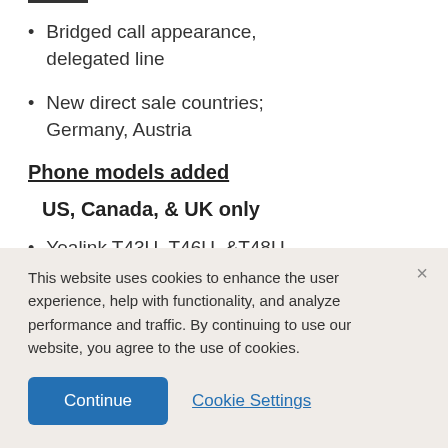Bridged call appearance, delegated line
New direct sale countries; Germany, Austria
Phone models added
US, Canada, & UK only
Yealink T43U, T46U, &T48U ordering
This website uses cookies to enhance the user experience, help with functionality, and analyze performance and traffic. By continuing to use our website, you agree to the use of cookies.
Continue
Cookie Settings